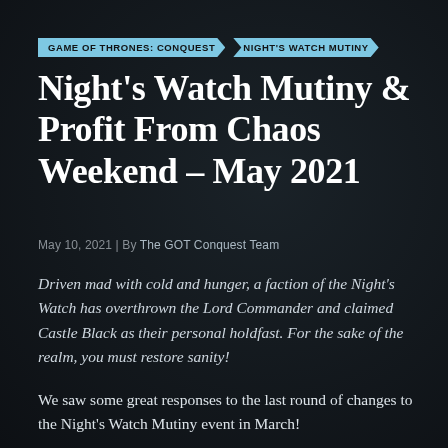GAME OF THRONES: CONQUEST | NIGHT'S WATCH MUTINY
Night's Watch Mutiny & Profit From Chaos Weekend – May 2021
May 10, 2021 | By The GOT Conquest Team
Driven mad with cold and hunger, a faction of the Night's Watch has overthrown the Lord Commander and claimed Castle Black as their personal holdfast. For the sake of the realm, you must restore sanity!
We saw some great responses to the last round of changes to the Night's Watch Mutiny event in March!